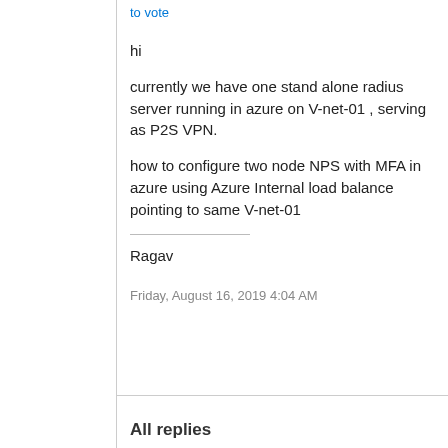to vote
hi
currently we have one stand alone radius server running in azure on V-net-01 , serving as P2S VPN.
how to configure two node NPS with MFA in azure using Azure Internal load balance pointing to same V-net-01
Ragav
Friday, August 16, 2019 4:04 AM
All replies